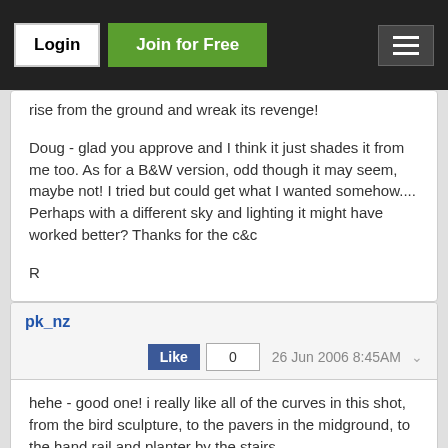Login | Join for Free
rise from the ground and wreak its revenge!

Doug - glad you approve and I think it just shades it from me too. As for a B&W version, odd though it may seem, maybe not! I tried but could get what I wanted somehow.... Perhaps with a different sky and lighting it might have worked better? Thanks for the c&c

R
pk_nz
26 Jun 2006 8:45AM
hehe - good one! i really like all of the curves in this shot, from the bird sculpture, to the pavers in the midground, to the hand rail and planter by the stairs...